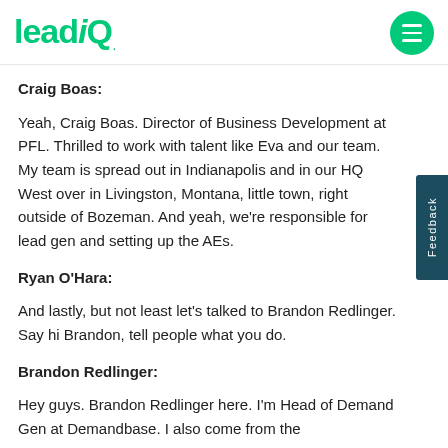leadiQ
Craig Boas:
Yeah, Craig Boas. Director of Business Development at PFL. Thrilled to work with talent like Eva and our team. My team is spread out in Indianapolis and in our HQ West over in Livingston, Montana, little town, right outside of Bozeman. And yeah, we're responsible for lead gen and setting up the AEs.
Ryan O'Hara:
And lastly, but not least let's talked to Brandon Redlinger. Say hi Brandon, tell people what you do.
Brandon Redlinger:
Hey guys. Brandon Redlinger here. I'm Head of Demand Gen at Demandbase. I also come from the